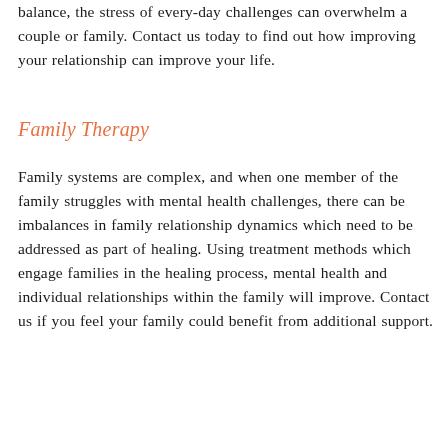balance, the stress of every-day challenges can overwhelm a couple or family. Contact us today to find out how improving your relationship can improve your life.
Family Therapy
Family systems are complex, and when one member of the family struggles with mental health challenges, there can be imbalances in family relationship dynamics which need to be addressed as part of healing. Using treatment methods which engage families in the healing process, mental health and individual relationships within the family will improve. Contact us if you feel your family could benefit from additional support.